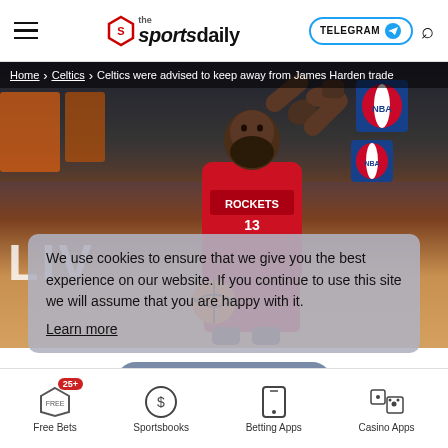the sportsdaily — TELEGRAM — Search
[Figure (photo): James Harden in Houston Rockets jersey (#13) extending his arm on an NBA court, with NBA logos visible in background. Semi-transparent cookie consent overlay on top of the photo.]
Home › Celtics › Celtics were advised to keep away from James Harden trade
We use cookies to ensure that we give you the best experience on our website. If you continue to use this site we will assume that you are happy with it.
Learn more
Free Bets  Sportsbooks  Betting Apps  Casino Apps